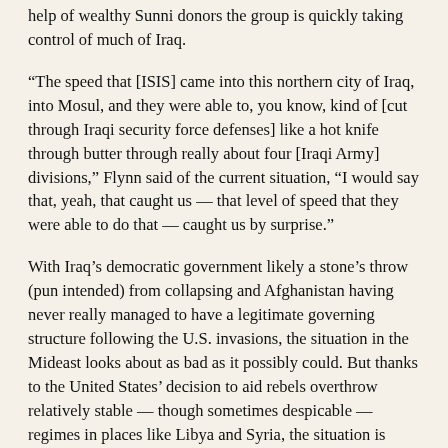help of wealthy Sunni donors the group is quickly taking control of much of Iraq.
“The speed that [ISIS] came into this northern city of Iraq, into Mosul, and they were able to, you know, kind of [cut through Iraqi security force defenses] like a hot knife through butter through really about four [Iraqi Army] divisions,” Flynn said of the current situation, “I would say that, yeah, that caught us — that level of speed that they were able to do that — caught us by surprise.”
With Iraq’s democratic government likely a stone’s throw (pun intended) from collapsing and Afghanistan having never really managed to have a legitimate governing structure following the U.S. invasions, the situation in the Mideast looks about as bad as it possibly could. But thanks to the United States’ decision to aid rebels overthrow relatively stable — though sometimes despicable — regimes in places like Libya and Syria, the situation is actually much more volatile that the Pentagon would like to admit.
Syria’s civil war has given the Islamic State group an opportunity to take over large portions of the country for the borderless Islamic state it is bent on creating. Libya, meanwhile, is in a state of chaos and here’s where the control of al-Qaida militants...